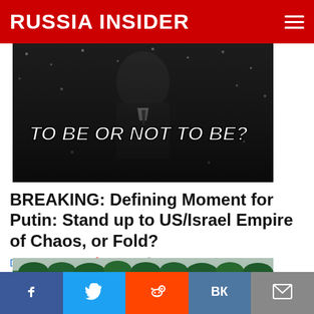RUSSIA INSIDER
[Figure (photo): A man in a dark suit standing in snowy/dark background with overlaid text 'TO BE OR NOT TO BE?']
BREAKING: Defining Moment for Putin: Stand up to US/Israel Empire of Chaos, or Fold?
Damir Marinovich 🔥 45,403 💬 Comments
[Figure (photo): A river flowing through a forested landscape with rocks along the banks]
Social share bar: Facebook, Twitter, Reddit, VK, Email